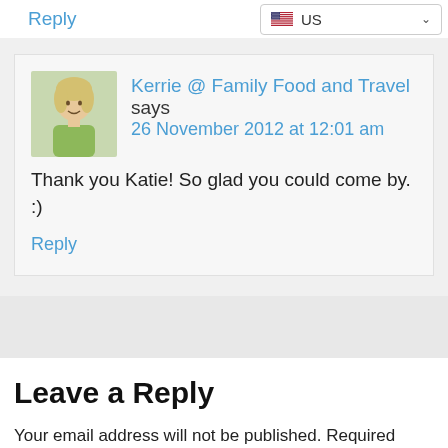Reply
[Figure (other): Country selector dropdown showing US flag and 'US' text with chevron]
Kerrie @ Family Food and Travel says
26 November 2012 at 12:01 am
[Figure (photo): Avatar photo of a woman with blonde hair wearing a green top]
Thank you Katie! So glad you could come by. :)
Reply
Leave a Reply
Your email address will not be published. Required fields are marked *